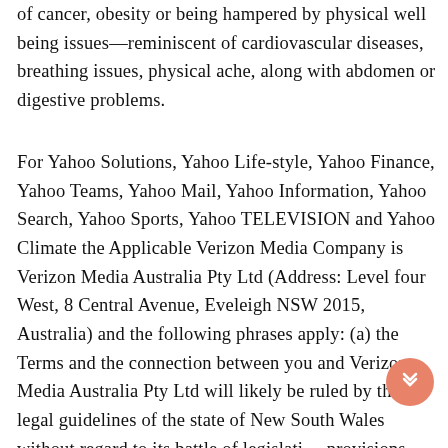of cancer, obesity or being hampered by physical well being issues—reminiscent of cardiovascular diseases, breathing issues, physical ache, along with abdomen or digestive problems.
For Yahoo Solutions, Yahoo Life-style, Yahoo Finance, Yahoo Teams, Yahoo Mail, Yahoo Information, Yahoo Search, Yahoo Sports, Yahoo TELEVISION and Yahoo Climate the Applicable Verizon Media Company is Verizon Media Australia Pty Ltd (Address: Level four West, 8 Central Avenue, Eveleigh NSW 2015, Australia) and the following phrases apply: (a) the Terms and the connection between you and Verizon Media Australia Pty Ltd will likely be ruled by the legal guidelines of the state of New South Wales without regard to its battle of legislation provisions, and (b) you and Verizon Media Australia Pty Ltd agree to the non-exclusive jurisdiction of the